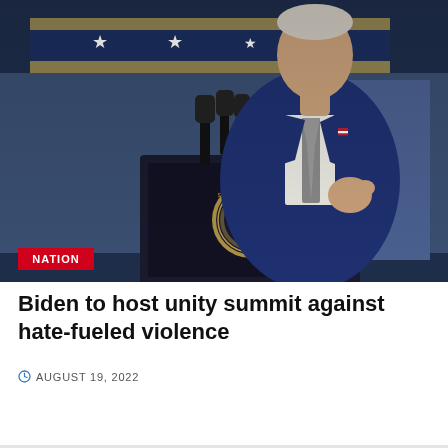[Figure (photo): President Biden standing at a presidential podium with microphones, wearing a dark navy suit and grey tie. A blue banner with gold stars is visible in the background. A red 'NATION' badge overlay is in the lower left of the image.]
Biden to host unity summit against hate-fueled violence
AUGUST 19, 2022